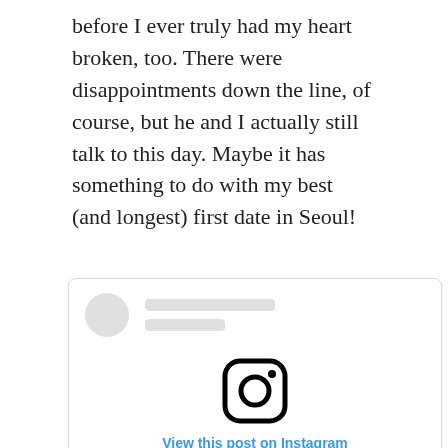before I ever truly had my heart broken, too. There were disappointments down the line, of course, but he and I actually still talk to this day. Maybe it has something to do with my best (and longest) first date in Seoul!
[Figure (screenshot): Instagram embed placeholder card with avatar skeleton, two skeleton text lines, Instagram logo icon, and 'View this post on Instagram' link]